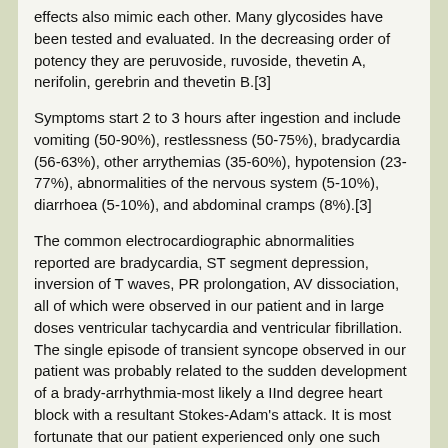effects also mimic each other. Many glycosides have been tested and evaluated. In the decreasing order of potency they are peruvoside, ruvoside, thevetin A, nerifolin, gerebrin and thevetin B.[3]
Symptoms start 2 to 3 hours after ingestion and include vomiting (50-90%), restlessness (50-75%), bradycardia (56-63%), other arrythemias (35-60%), hypotension (23-77%), abnormalities of the nervous system (5-10%), diarrhoea (5-10%), and abdominal cramps (8%).[3]
The common electrocardiographic abnormalities reported are bradycardia, ST segment depression, inversion of T waves, PR prolongation, AV dissociation, all of which were observed in our patient and in large doses ventricular tachycardia and ventricular fibrillation. The single episode of transient syncope observed in our patient was probably related to the sudden development of a brady-arrhythmia-most likely a IInd degree heart block with a resultant Stokes-Adam's attack. It is most fortunate that our patient experienced only one such episode in the one hour period prior to her admission, as a recurrance of similar episode could have most certainly resulted in a fatal out come. Biochemical features described include hypovolemia, hyper kalaemia and hyperkalemic acidosis,[3] none of which were observed in our patient.
The diagnosis can be confirmed in a patient with clinical features of cardiac glycoside toxicity by doing digoxin radioimmuneassays using an antibody with a broad specificity for cardiac glycosides.[1] However, a common fallacy which may be encountered is the under estimation in the blood levels of the alkaloid. This is due to avid binding of the cardiac glycosides to the heart tissues.